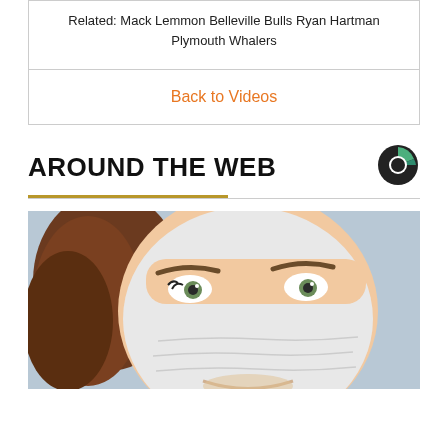Related: Mack Lemmon Belleville Bulls Ryan Hartman Plymouth Whalers
Back to Videos
AROUND THE WEB
[Figure (logo): Circular logo with green and dark segments]
[Figure (photo): Close-up photo of a woman wearing a white facial sheet mask, smiling, with brown hair, on a light blue background]